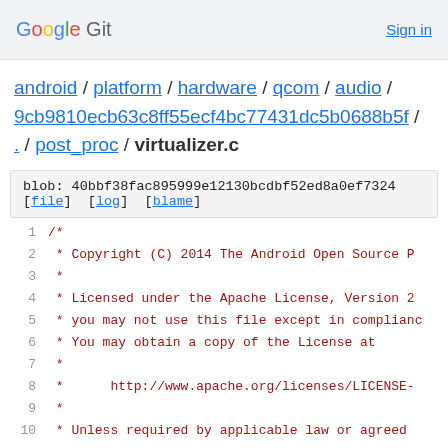Google Git   Sign in
android / platform / hardware / qcom / audio / 9cb9810ecb63c8ff55ecf4bc77431dc5b0688b5f / . / post_proc / virtualizer.c
blob: 40bbf38fac895999e12130bcdbf52ed8a0ef7324 [file] [log] [blame]
1  /*
2   * Copyright (C) 2014 The Android Open Source P
3   *
4   * Licensed under the Apache License, Version 2
5   * you may not use this file except in complianc
6   * You may obtain a copy of the License at
7   *
8   *       http://www.apache.org/licenses/LICENSE-
9   *
10  * Unless required by applicable law or agreed